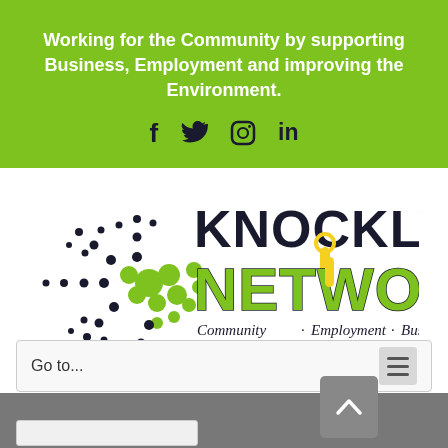Working for the Community by supporting Business, Employment and improving the Environment.
[Figure (illustration): Social media icons: Facebook, Twitter, Instagram, LinkedIn in dark color on green background]
[Figure (logo): Knocklyon Network logo with dot network graphic and text: KNOCKLYON NETWORK Community · Employment · Business]
Go to...
[Figure (illustration): Hamburger menu icon (three horizontal lines)]
[Figure (illustration): Up arrow scroll-to-top button (grey rounded square with upward chevron)]